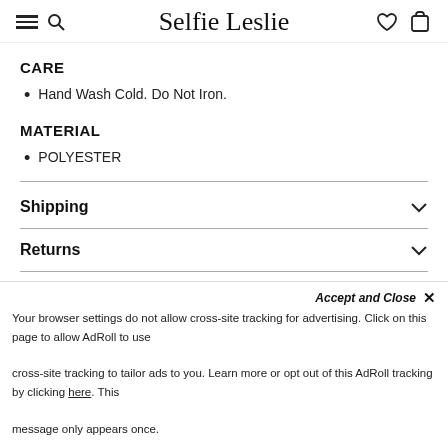Selfie Leslie
CARE
Hand Wash Cold. Do Not Iron.
MATERIAL
POLYESTER
Shipping
Returns
Size Guide
Accept and Close
Your browser settings do not allow cross-site tracking for advertising. Click on this page to allow AdRoll to use cross-site tracking to tailor ads to you. Learn more or opt out of this AdRoll tracking by clicking here. This message only appears once.